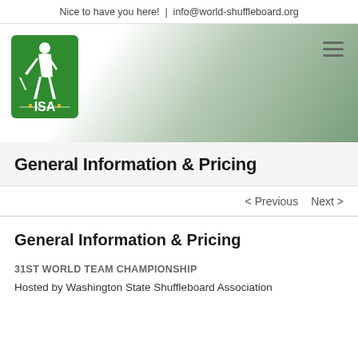Nice to have you here!  |  info@world-shuffleboard.org
[Figure (logo): ISA International Shuffleboard Association logo — green square with white silhouette of a player and 'ISA' text]
General Information & Pricing
< Previous   Next >
General Information & Pricing
31st WORLD TEAM CHAMPIONSHIP
Hosted by Washington State Shuffleboard Association